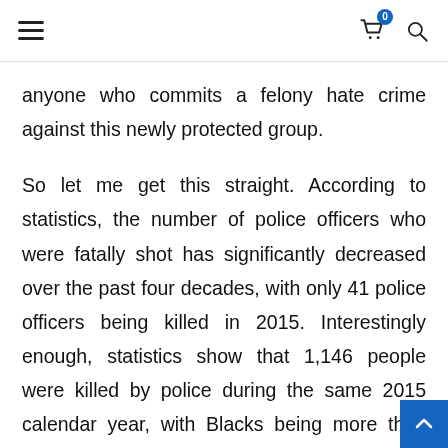Navigation header with hamburger menu, cart icon with badge 0, and search icon
anyone who commits a felony hate crime against this newly protected group.
So let me get this straight. According to statistics, the number of police officers who were fatally shot has significantly decreased over the past four decades, with only 41 police officers being killed in 2015. Interestingly enough, statistics show that 1,146 people were killed by police during the same 2015 calendar year, with Blacks being more than twice as likely to be fatally shot than Whites. But, you mean to tell me that police officers a